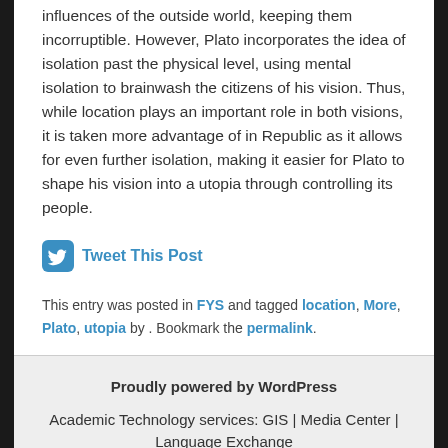influences of the outside world, keeping them incorruptible. However, Plato incorporates the idea of isolation past the physical level, using mental isolation to brainwash the citizens of his vision. Thus, while location plays an important role in both visions, it is taken more advantage of in Republic as it allows for even further isolation, making it easier for Plato to shape his vision into a utopia through controlling its people.
Tweet This Post
This entry was posted in FYS and tagged location, More, Plato, utopia by . Bookmark the permalink.
Proudly powered by WordPress
Academic Technology services: GIS | Media Center | Language Exchange